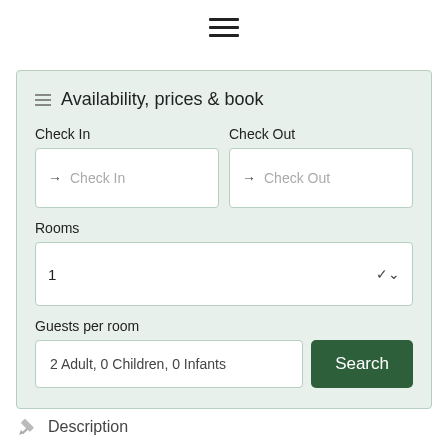[Figure (other): Hamburger menu icon (three horizontal lines) centered at top of page]
Availability, prices & book
Check In
Check Out
Rooms
1
Guests per room
2 Adult, 0 Children, 0 Infants
Search
Description